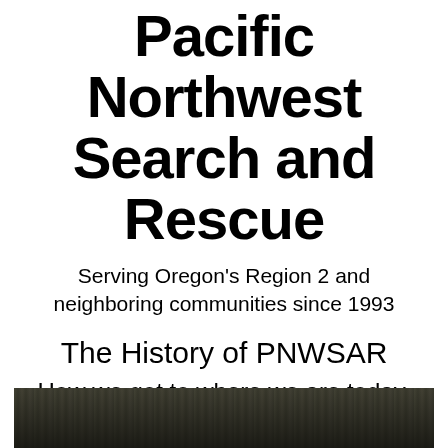Pacific Northwest Search and Rescue
Serving Oregon's Region 2 and neighboring communities since 1993
The History of PNWSAR
How we got to where we are today.
By Jerry King
[Figure (photo): Dark photograph, appears to show wooden posts or structural elements, partially visible at the bottom of the page]